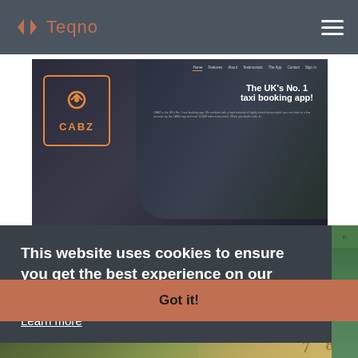Teqno
[Figure (screenshot): Screenshot of CABZ taxi booking website showing 'The UK's No. 1 taxi booking app!' headline with CABZ logo, navigation menu (Home, Features, About, Testimonials, The App, Contact, Sign In), and a booking form with Pick-up location, Drop-off location, Date, Time, and Passengers fields, plus a Book Now button.]
This website uses cookies to ensure you get the best experience on our website.
Learn more
Got it!
[Figure (photo): Partial photo of plants and numbers/money visible at the bottom of the page.]